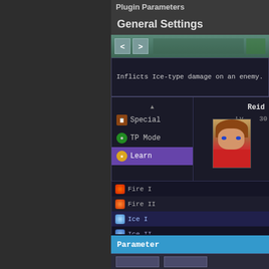Plugin Parameters
General Settings
[Figure (screenshot): RPG Maker plugin parameters UI showing a game skill selection screen with navigation arrows, a description box reading 'Inflicts Ice-type damage on an enemy.', a menu with Special/TP Mode/Learn options, character Reid at Lv 30, and a skill list including Fire I, Fire II, Ice I, Ice II, Thunder I, Thunder II, Water I, Water II]
Parameter